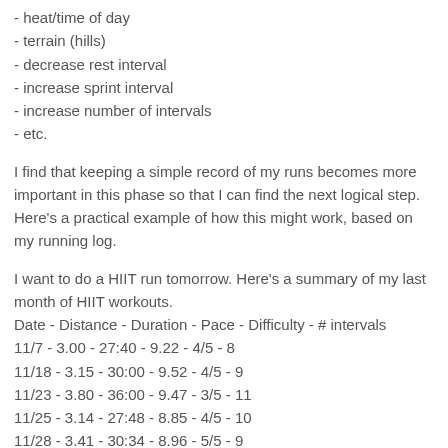- heat/time of day
- terrain (hills)
- decrease rest interval
- increase sprint interval
- increase number of intervals
- etc.
I find that keeping a simple record of my runs becomes more important in this phase so that I can find the next logical step. Here's a practical example of how this might work, based on my running log.
I want to do a HIIT run tomorrow. Here's a summary of my last month of HIIT workouts.
Date - Distance - Duration - Pace - Difficulty - # intervals
11/7 - 3.00 - 27:40 - 9.22 - 4/5 - 8
11/18 - 3.15 - 30:00 - 9.52 - 4/5 - 9
11/23 - 3.80 - 36:00 - 9.47 - 3/5 - 11
11/25 - 3.14 - 27:48 - 8.85 - 4/5 - 10
11/28 - 3.41 - 30:34 - 8.96 - 5/5 - 9
12/6 - 3.22 - 30:39 - 9.52 - 3/5 - 9 (miserable weather)